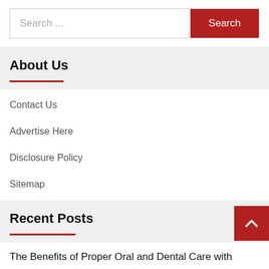[Figure (screenshot): Search bar with text input placeholder 'Search ...' and a red 'Search' button]
About Us
Contact Us
Advertise Here
Disclosure Policy
Sitemap
Recent Posts
The Benefits of Proper Oral and Dental Care with